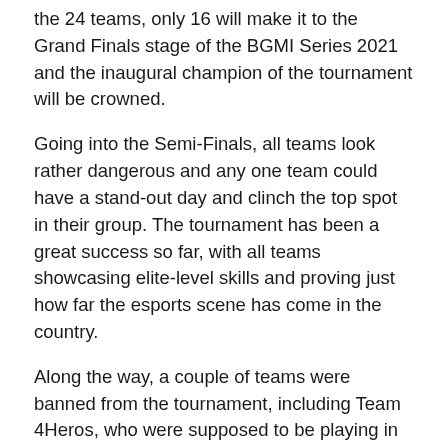the 24 teams, only 16 will make it to the Grand Finals stage of the BGMI Series 2021 and the inaugural champion of the tournament will be crowned.
Going into the Semi-Finals, all teams look rather dangerous and any one team could have a stand-out day and clinch the top spot in their group. The tournament has been a great success so far, with all teams showcasing elite-level skills and proving just how far the esports scene has come in the country.
Along the way, a couple of teams were banned from the tournament, including Team 4Heros, who were supposed to be playing in the Semi-Finals stage after a good showing in the Quarter-Finals stage of the tournament.